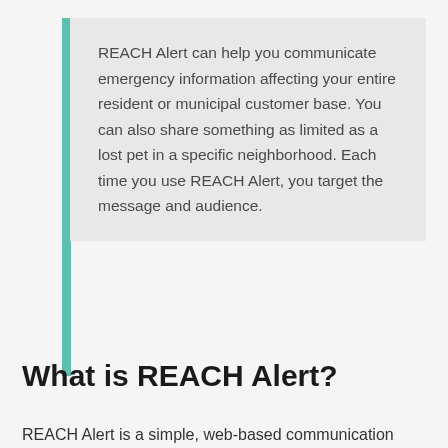REACH Alert can help you communicate emergency information affecting your entire resident or municipal customer base. You can also share something as limited as a lost pet in a specific neighborhood. Each time you use REACH Alert, you target the message and audience.
What is REACH Alert?
REACH Alert is a simple, web-based communication